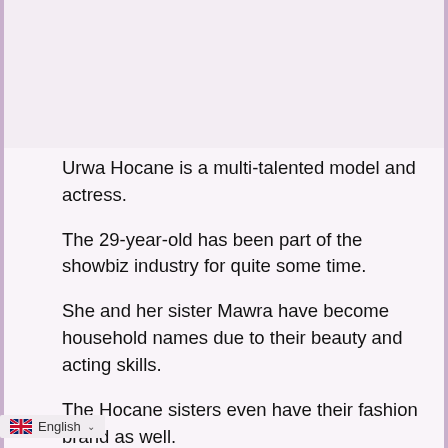Urwa Hocane is a multi-talented model and actress.
The 29-year-old has been part of the showbiz industry for quite some time.
She and her sister Mawra have become household names due to their beauty and acting skills.
The Hocane sisters even have their fashion brand as well.
Sana Javed had been accused by several models of belittling them and treating them disrespectfully.
Related Reads